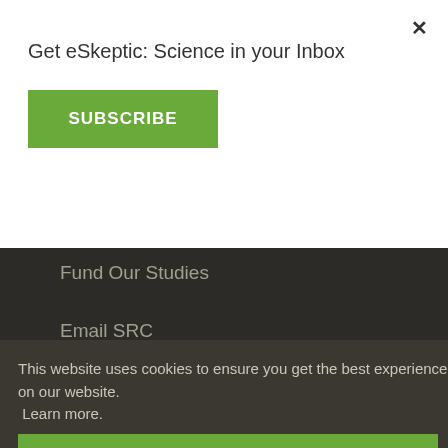Get eSkeptic: Science in your Inbox
SUBSCRIBE
×
Fund Our Studies
Email SRC
RSS FEEDS
This website uses cookies to ensure you get the best experience on our website. Learn more.
GOT IT!